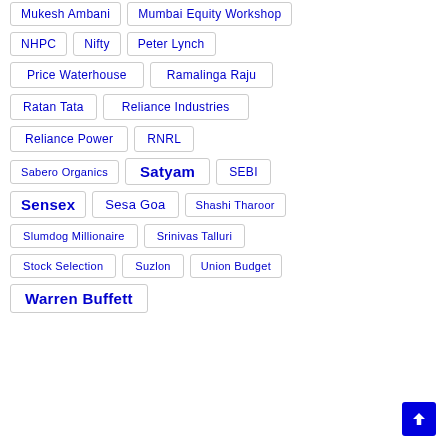Mukesh Ambani
Mumbai Equity Workshop
NHPC
Nifty
Peter Lynch
Price Waterhouse
Ramalinga Raju
Ratan Tata
Reliance Industries
Reliance Power
RNRL
Sabero Organics
Satyam
SEBI
Sensex
Sesa Goa
Shashi Tharoor
Slumdog Millionaire
Srinivas Talluri
Stock Selection
Suzlon
Union Budget
Warren Buffett